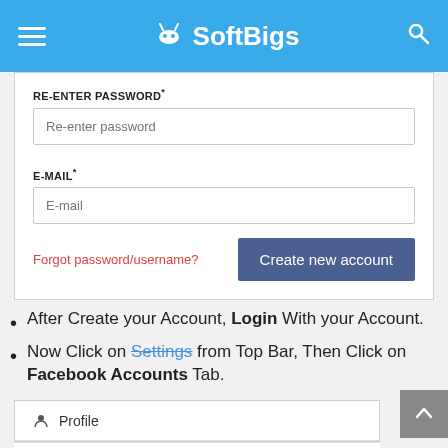SoftBigs
[Figure (screenshot): A web form with RE-ENTER PASSWORD and E-MAIL fields, a Forgot password/username link in red, and a Create new account button in dark blue.]
After Create your Account, Login With your Account.
Now Click on Settings from Top Bar, Then Click on Facebook Accounts Tab.
[Figure (screenshot): A settings menu showing Profile and Posting settings menu items on a light gray background.]